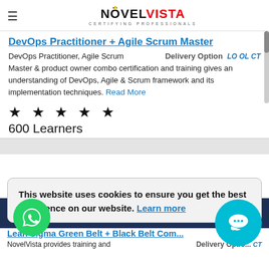NövelVista — Certifying Professionals
DevOps Practitioner + Agile Scrum Master
DevOps Practitioner, Agile Scrum
Delivery Option LO OL CT
Master & product owner combo certification and training gives an understanding of DevOps, Agile & Scrum framework and its implementation techniques. Read More
★ ★ ★ ★ ★
600 Learners
This website uses cookies to ensure you get the best experience on our website. Learn more
Got It
Lean Sigma Green Belt + Black Belt Combo
NovelVista provides training and
Delivery Option CT